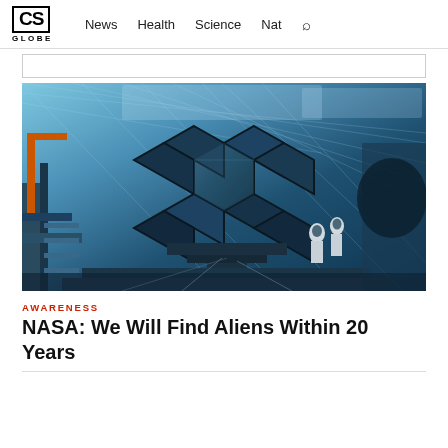CS GLOBE  News  Health  Science  Nat
[Figure (photo): James Webb Space Telescope hexagonal mirror segments being assembled in a large facility, with two technicians in white cleanroom suits working on scaffolding beside the large gold/dark hexagonal mirror array. Industrial blue-toned interior with metal framework.]
AWARENESS
NASA: We Will Find Aliens Within 20 Years